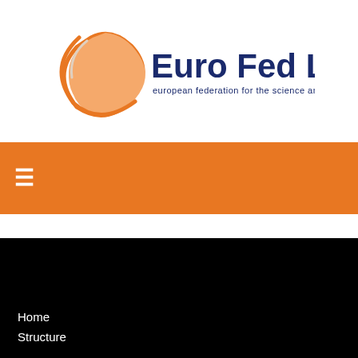[Figure (logo): Euro Fed Lipid logo with orange droplet shape and dark blue text 'Euro Fed Lipid' and tagline 'european federation for the science and technology of lipids']
Home
Structure